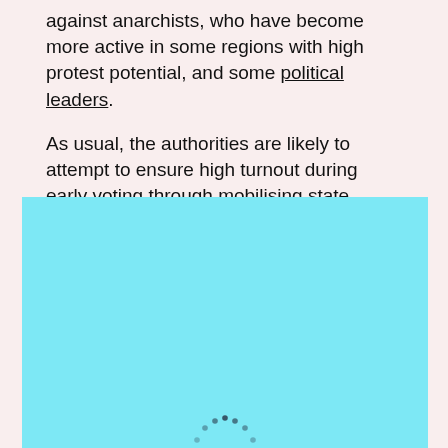against anarchists, who have become more active in some regions with high protest potential, and some political leaders.
As usual, the authorities are likely to attempt to ensure high turnout during early voting through mobilising state employees and students.
[Figure (other): Cyan/light blue background panel with a loading spinner (dots arranged in a semicircle) at the bottom center, indicating a map or image is loading.]